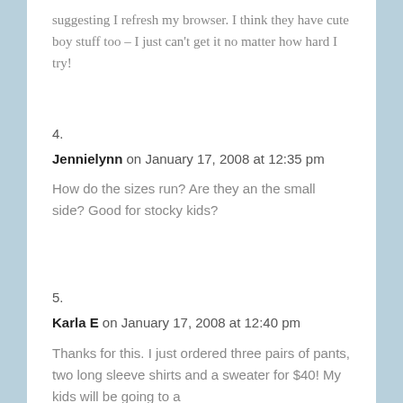suggesting I refresh my browser. I think they have cute boy stuff too – I just can't get it no matter how hard I try!
4.
Jennielynn on January 17, 2008 at 12:35 pm
How do the sizes run? Are they an the small side? Good for stocky kids?
5.
Karla E on January 17, 2008 at 12:40 pm
Thanks for this. I just ordered three pairs of pants, two long sleeve shirts and a sweater for $40! My kids will be going to a